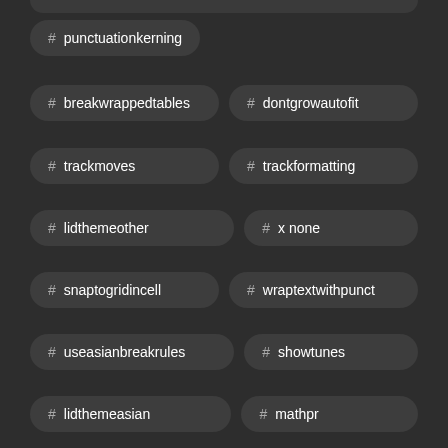# punctuationkerning
# breakwrappedtables
# dontgrowautofit
# trackmoves
# trackformatting
# lidthemeother
# x none
# snaptogridincell
# wraptextwithpunct
# useasianbreakrules
# showtunes
# lidthemeasian
# mathpr
# latentstyles deflockedstate
# msonormaltable
# centergroup